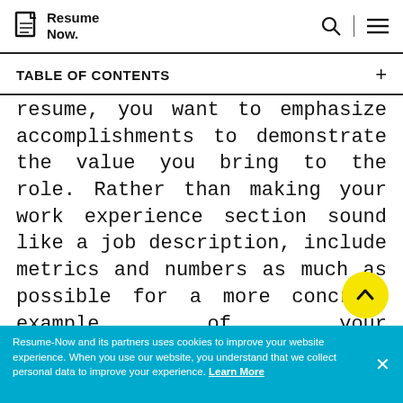Resume Now.
TABLE OF CONTENTS
resume, you want to emphasize accomplishments to demonstrate the value you bring to the role. Rather than making your work experience section sound like a job description, include metrics and numbers as much as possible for a more concrete example of your accomplishments.Additionally, describe any special projects on which...
Resume-Now and its partners uses cookies to improve your website experience. When you use our website, you understand that we collect personal data to improve your experience. Learn More